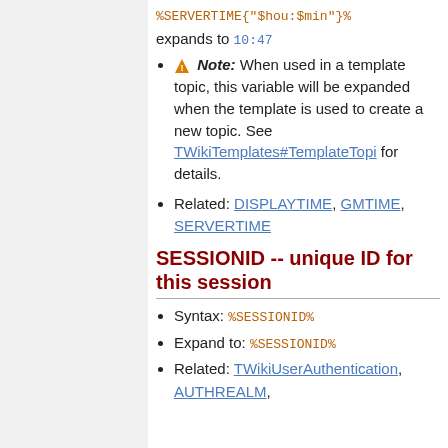%SERVERTIME{"$hou:$min"}% expands to 10:47
Note: When used in a template topic, this variable will be expanded when the template is used to create a new topic. See TWikiTemplates#TemplateTopi for details.
Related: DISPLAYTIME, GMTIME, SERVERTIME
SESSIONID -- unique ID for this session
Syntax: %SESSIONID%
Expand to: %SESSIONID%
Related: TWikiUserAuthentication, AUTHREALM,